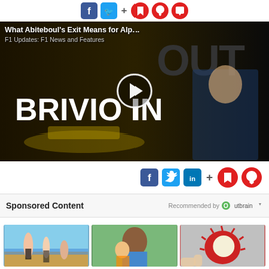[Figure (screenshot): Top social sharing bar with Facebook, Twitter, plus, bookmark, bell, and chat icons]
[Figure (screenshot): Video thumbnail showing F1 content titled 'What Abiteboul's Exit Means for Alp...' with subtitle 'F1 Updates: F1 News and Features', showing text BRIVIO IN and OUT, with two men and a Renault F1 car, and a play button overlay]
[Figure (screenshot): Second social sharing bar with Facebook, Twitter, LinkedIn, plus, bookmark, and bell icons, right-aligned]
Sponsored Content
Recommended by Outbrain
[Figure (photo): Three sponsored content thumbnail images showing: 1) People on beach in bikinis, 2) Man with child smiling, 3) Hand holding rambutan fruit]